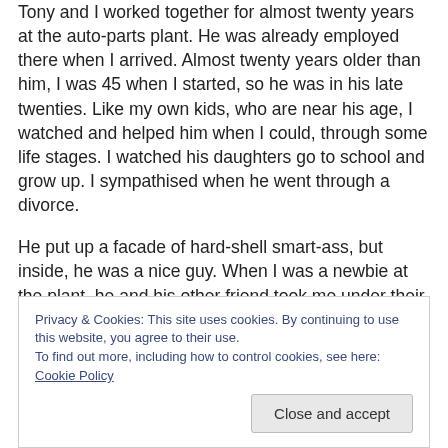Tony and I worked together for almost twenty years at the auto-parts plant. He was already employed there when I arrived. Almost twenty years older than him, I was 45 when I started, so he was in his late twenties. Like my own kids, who are near his age, I watched and helped him when I could, through some life stages. I watched his daughters go to school and grow up. I sympathised when he went through a divorce.
He put up a facade of hard-shell smart-ass, but inside, he was a nice guy. When I was a newbie at the plant, he and his other friend took me under their wings. Perhaps it was
Privacy & Cookies: This site uses cookies. By continuing to use this website, you agree to their use.
To find out more, including how to control cookies, see here: Cookie Policy